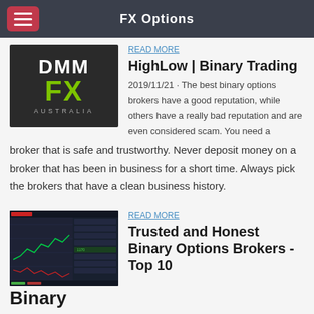FX Options
READ MORE
[Figure (logo): DMM FX Australia logo with dark background, white DMM text and green FX text]
HighLow | Binary Trading
2019/11/21 · The best binary options brokers have a good reputation, while others have a really bad reputation and are even considered scam. You need a broker that is safe and trustworthy. Never deposit money on a broker that has been in business for a short time. Always pick the brokers that have a clean business history.
READ MORE
[Figure (screenshot): MetaTrader 4 trading platform screenshot showing charts and trading interface]
Trusted and Honest Binary Options Brokers - Top 10 Binary
Trading Binary Options In MetaTrader 4 (MT4) Lately, a lot of people